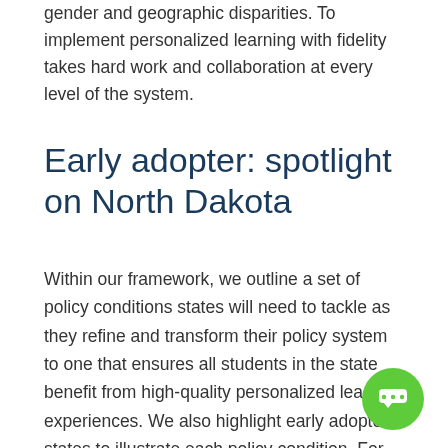gender and geographic disparities. To implement personalized learning with fidelity takes hard work and collaboration at every level of the system.
Early adopter: spotlight on North Dakota
Within our framework, we outline a set of policy conditions states will need to tackle as they refine and transform their policy system to one that ensures all students in the state benefit from high-quality personalized learning experiences. We also highlight early adopter states to illustrate each policy condition. For the policy condition Collaborative Leadership, we shine a spotlight on